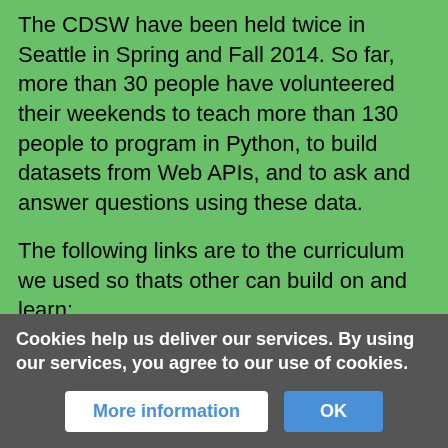The CDSW have been held twice in Seattle in Spring and Fall 2014. So far, more than 30 people have volunteered their weekends to teach more than 130 people to program in Python, to build datasets from Web APIs, and to ask and answer questions using these data.

The following links are to the curriculum we used so thats other can build on and learn:
* [[Community Data Science Workshops (Spring 2014)]] along with "many" subpages
The workshops are for people with "no previous programming experience." The goal is to bring together both researchers and academics as well as participants and leaders in online communities. The workshops have all been free of charge and are open to the public.
Cookies help us deliver our services. By using our services, you agree to our use of cookies.